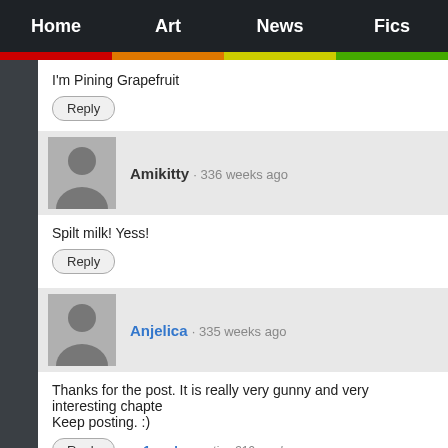Home | Art | News | Fics
I'm Pining Grapefruit
Reply
Amikitty · 336 weeks ago
Spilt milk! Yess!
Reply
Anjelica · 335 weeks ago
Thanks for the post. It is really very gunny and very interesting chapter. Keep posting. :)
Reply ► 1 reply · active 310 weeks ago
Zella Anderson · 330 weeks ago
Spilt milk